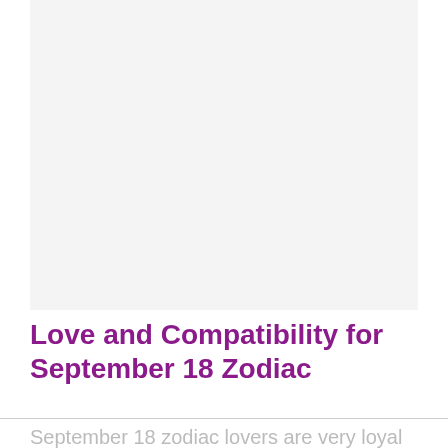[Figure (other): Large light gray placeholder image area at the top of the page]
Love and Compatibility for September 18 Zodiac
September 18 zodiac lovers are very loyal to their partners. You are